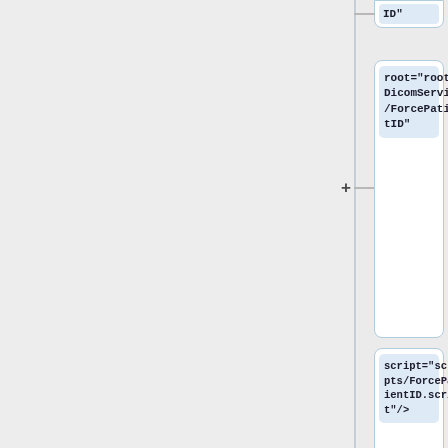[Figure (flowchart): A vertical tree/flowchart showing XML configuration nodes. From top to bottom: a partial node showing 'ID"', then a node with 'root="roots/DicomService/ForcePatientID"', then a node with 'script="scripts/ForcePatientID.script"/>', then a node with '<MircDocumentStorageService', then a node with 'caseTag="PatientID"'. Each node is connected by plus signs and lines on the left side.]